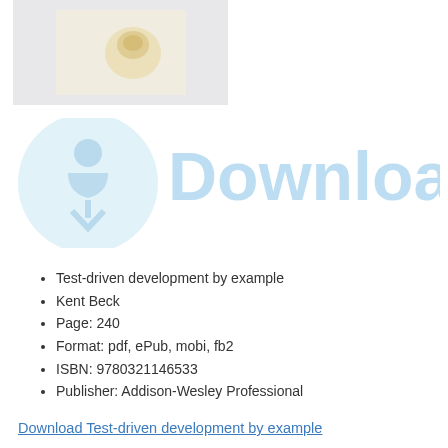[Figure (photo): Book cover thumbnail showing a light gray background with a faint golden/amber figure or emblem in the center-right area]
[Figure (other): Download watermark: a large light-blue circle with a download arrow icon on the left, and the word 'Download' in large bold light-blue text on the right]
Test-driven development by example
Kent Beck
Page: 240
Format: pdf, ePub, mobi, fb2
ISBN: 9780321146533
Publisher: Addison-Wesley Professional
Download Test-driven development by example